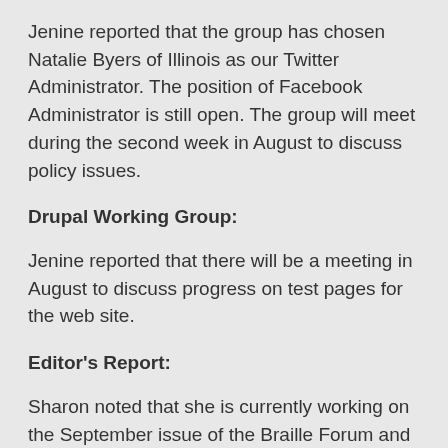Jenine reported that the group has chosen Natalie Byers of Illinois as our Twitter Administrator. The position of Facebook Administrator is still open. The group will meet during the second week in August to discuss policy issues.
Drupal Working Group:
Jenine reported that there will be a meeting in August to discuss progress on test pages for the web site.
Editor's Report:
Sharon noted that she is currently working on the September issue of the Braille Forum and completing duplication of the August issue.
Regarding the convention issue, assignments were divided as follows:
1.Sunday – Sharon